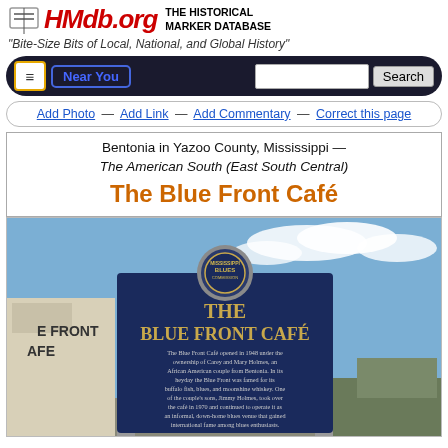HMdb.org THE HISTORICAL MARKER DATABASE
"Bite-Size Bits of Local, National, and Global History"
Navigation bar: hamburger menu, Near You button, search box, Search button
Add Photo — Add Link — Add Commentary — Correct this page
Bentonia in Yazoo County, Mississippi — The American South (East South Central)
The Blue Front Café
[Figure (photo): Photo of The Blue Front Café historical marker, a dark blue sign with gold text reading THE BLUE FRONT CAFÉ, with a Mississippi Blues Commission circular medallion at top. Sign text: The Blue Front Café opened in 1948 under the ownership of Carey and Mary Holmes, an African American couple from Bentonia. In its heyday the Blue Front was famed for its buffalo fish, blues, and moonshine whiskey. One of the couple's sons, Jimmy Holmes, took over the café in 1970 and continued to operate it as an informal, down-home blues venue that gained international fame among blues enthusiasts.]